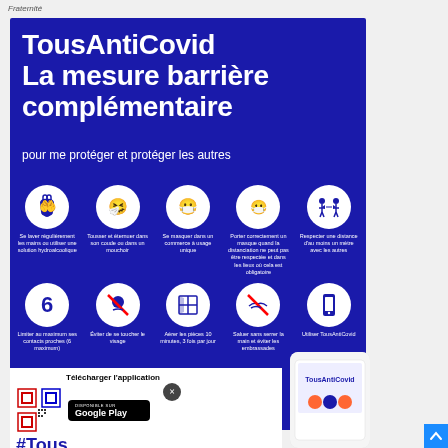Fraternité
TousAntiCovid La mesure barrière complémentaire
pour me protéger et protéger les autres
[Figure (infographic): Five circular icons with white illustrations on blue background showing barrier gestures: hand washing, sneezing into elbow, wearing mask in shops, wearing mask when distancing not possible, keeping 1m distance]
[Figure (infographic): Five circular icons row 2: limit to 6 contacts, avoid touching face, air rooms 10 min 3x daily, wash hands, use TousAntiCovid app]
[Figure (infographic): QR code and Google Play download section with TousAntiCovid app promotional content, phone illustration]
Télécharger l'application
#Tous